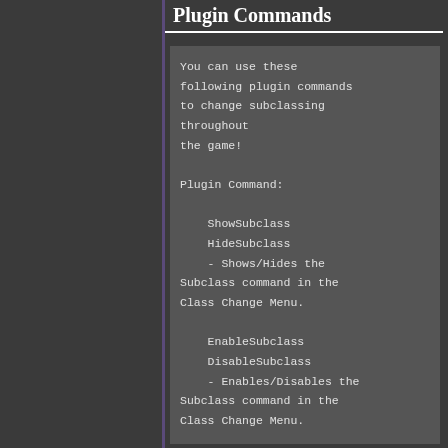Plugin Commands
You can use these following plugin commands to change subclassing throughout
the game!

Plugin Command:

    ShowSubclass
    HideSubclass
    - Shows/Hides the Subclass command in the Class Change Menu.

    EnableSubclass
    DisableSubclass
    - Enables/Disables the Subclass command in the Class Change Menu.

    ChangeSubclass x y
    - Changes actor x's